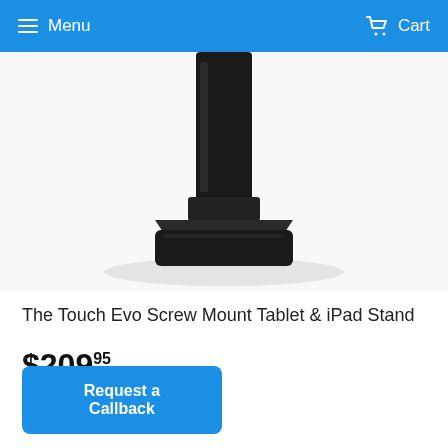Menu   Cart
[Figure (photo): Black tablet/iPad stand with screw mount base — lower portion of stand showing the pedestal column and rectangular base on white background with subtle shadow]
The Touch Evo Screw Mount Tablet & iPad Stand
$209.95
Request a Callback